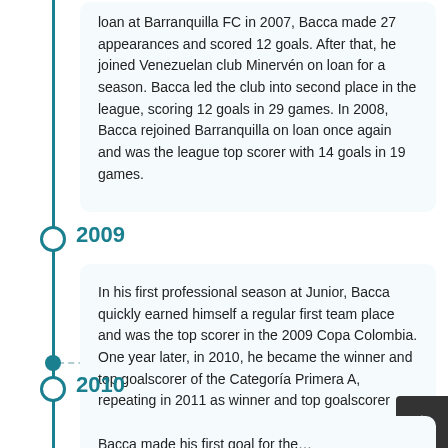loan at Barranquilla FC in 2007, Bacca made 27 appearances and scored 12 goals. After that, he joined Venezuelan club Minervén on loan for a season. Bacca led the club into second place in the league, scoring 12 goals in 29 games. In 2008, Bacca rejoined Barranquilla on loan once again and was the league top scorer with 14 goals in 19 games.
2009
In his first professional season at Junior, Bacca quickly earned himself a regular first team place and was the top scorer in the 2009 Copa Colombia. One year later, in 2010, he became the winner and top goalscorer of the Categoría Primera A, repeating in 2011 as winner and top goalscorer giving Junior their sixth and seventh Colombian titles.
2010